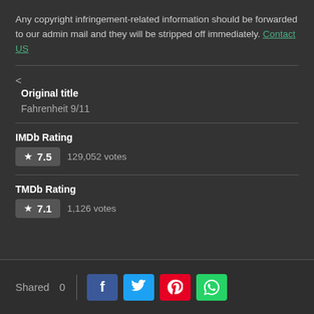Any copyright infringement-related information should be forwarded to our admin mail and they will be stripped off immediately. Contact US
< Original title
Fahrenheit 9/11
IMDb Rating
★ 7.5   129,052 votes
TMDb Rating
★ 7.1   1,126 votes
Shared  0